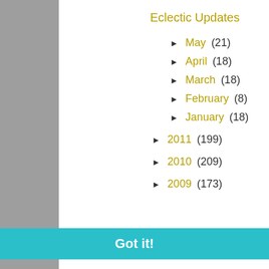Eclectic Updates
► May (21)
► April (18)
► March (18)
► February (8)
► January (18)
► 2011 (199)
► 2010 (209)
► 2009 (173)
This website uses cookies to ensure you get the best experience on our website.
Learn more
Got it!